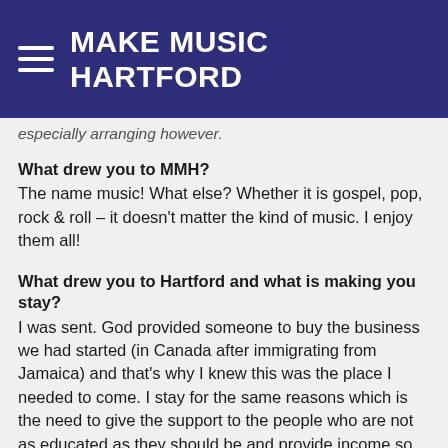MAKE MUSIC HARTFORD
especially arranging however.
What drew you to MMH?
The name music! What else? Whether it is gospel, pop, rock & roll – it doesn't matter the kind of music. I enjoy them all!
What drew you to Hartford and what is making you stay?
I was sent. God provided someone to buy the business we had started (in Canada after immigrating from Jamaica) and that's why I knew this was the place I needed to come. I stay for the same reasons which is the need to give the support to the people who are not as educated as they should be and provide income so they can live without having to go on welfare.